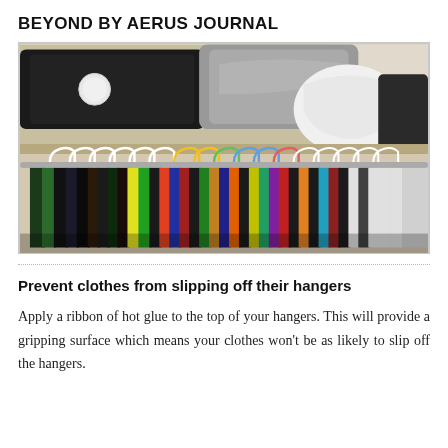BEYOND BY AERUS JOURNAL
[Figure (photo): A closet rod packed with colorful clothes on hangers, with luggage and bags stored on the shelf above. The hangers are plastic in various colors (white, yellow, green, blue, etc.). The clothes are densely packed and multicolored.]
Prevent clothes from slipping off their hangers
Apply a ribbon of hot glue to the top of your hangers. This will provide a gripping surface which means your clothes won't be as likely to slip off the hangers.